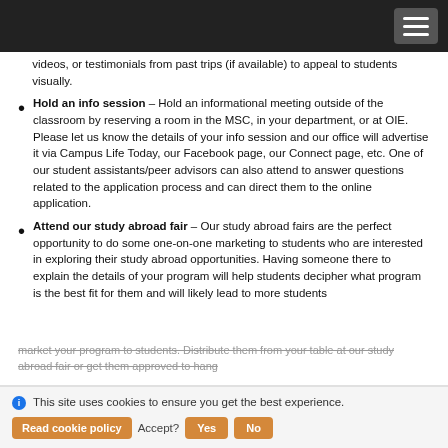[Navigation bar]
videos, or testimonials from past trips (if available) to appeal to students visually.
Hold an info session – Hold an informational meeting outside of the classroom by reserving a room in the MSC, in your department, or at OIE. Please let us know the details of your info session and our office will advertise it via Campus Life Today, our Facebook page, our Connect page, etc. One of our student assistants/peer advisors can also attend to answer questions related to the application process and can direct them to the online application.
Attend our study abroad fair – Our study abroad fairs are the perfect opportunity to do some one-on-one marketing to students who are interested in exploring their study abroad opportunities. Having someone there to explain the details of your program will help students decipher what program is the best fit for them and will likely lead to more students
market your program to students. Distribute them from your table at our study abroad fair or get them approved to hang
This site uses cookies to ensure you get the best experience. Read cookie policy  Accept?  Yes  No